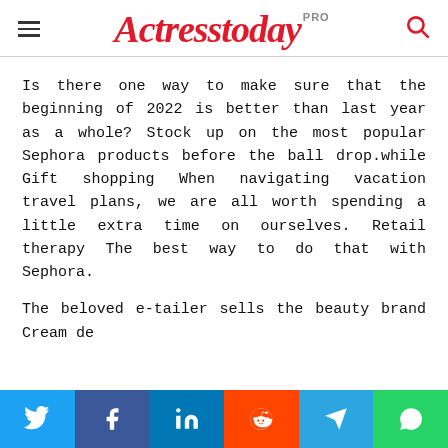Actresstoday PRO
Is there one way to make sure that the beginning of 2022 is better than last year as a whole? Stock up on the most popular Sephora products before the ball drop.while Gift shopping When navigating vacation travel plans, we are all worth spending a little extra time on ourselves. Retail therapy The best way to do that with Sephora.
The beloved e-tailer sells the beauty brand Cream de